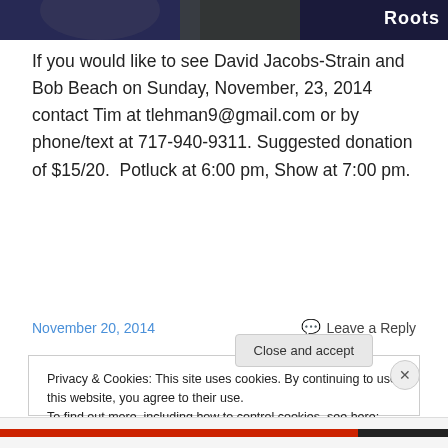[Figure (photo): Dark-toned photo strip showing a partial view of a performer with 'Roots' text visible in upper right]
If you would like to see David Jacobs-Strain and Bob Beach on Sunday, November, 23, 2014 contact Tim at tlehman9@gmail.com or by phone/text at 717-940-9311. Suggested donation of $15/20.  Potluck at 6:00 pm, Show at 7:00 pm.
November 20, 2014
Leave a Reply
Privacy & Cookies: This site uses cookies. By continuing to use this website, you agree to their use.
To find out more, including how to control cookies, see here: Cookie Policy